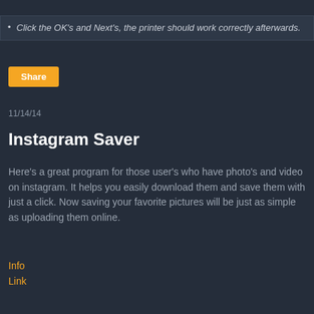Click the OK's and Next's, the printer should work correctly afterwards.
[Figure (other): Orange Share button]
11/14/14
Instagram Saver
Here's a great program for those user's who have photo's and video on instagram. It helps you easily download them and save them with just a click. Now saving your favorite pictures will be just as simple as uploading them online.
Info
Link